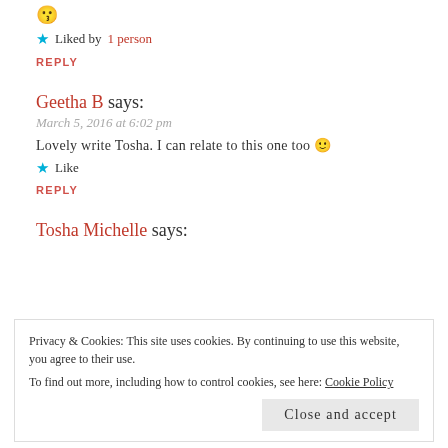😗
★ Liked by 1 person
REPLY
Geetha B says:
March 5, 2016 at 6:02 pm
Lovely write Tosha. I can relate to this one too 🙂
★ Like
REPLY
Tosha Michelle says:
Privacy & Cookies: This site uses cookies. By continuing to use this website, you agree to their use. To find out more, including how to control cookies, see here: Cookie Policy
Close and accept